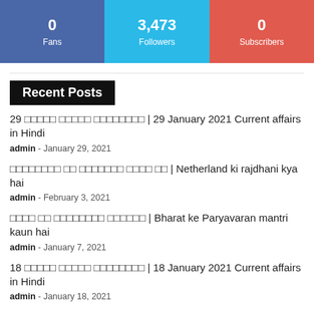[Figure (infographic): Social media stats bar with three sections: Facebook (0 Fans, blue), Twitter (3,473 Followers, cyan), YouTube (0 Subscribers, red)]
Recent Posts
29 [Hindi] | 29 January 2021 Current affairs in Hindi
admin  -  January 29, 2021
[Hindi] | Netherland ki rajdhani kya hai
admin  -  February 3, 2021
[Hindi] | Bharat ke Paryavaran mantri kaun hai
admin  -  January 7, 2021
18 [Hindi] | 18 January 2021 Current affairs in Hindi
admin  -  January 18, 2021